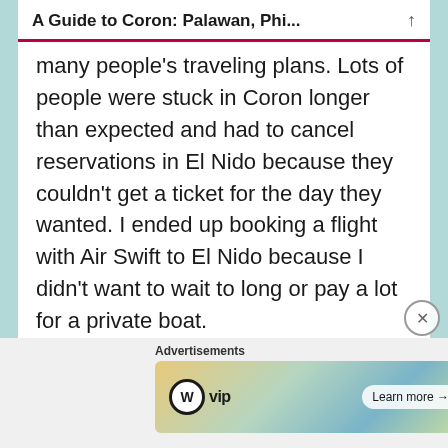A Guide to Coron: Palawan, Phi...
many people's traveling plans. Lots of people were stuck in Coron longer than expected and had to cancel reservations in El Nido because they couldn't get a ticket for the day they wanted. I ended up booking a flight with Air Swift to El Nido because I didn't want to wait to long or pay a lot for a private boat.
[Figure (other): WordPress VIP advertisement banner with 'Learn more' button]